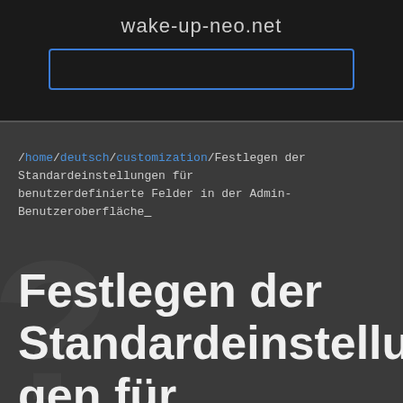wake-up-neo.net
/home/deutsch/customization/Festlegen der Standardeinstellungen für benutzerdefinierte Felder in der Admin-Benutzeroberfläche
Festlegen der Standardeinstellungen für